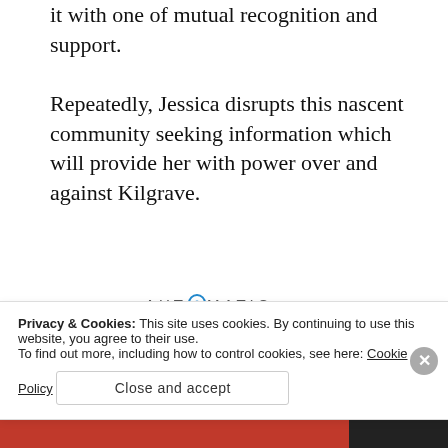it with one of mutual recognition and support. Repeatedly, Jessica disrupts this nascent community seeking information which will provide her with power over and against Kilgrave.
[Figure (logo): AUTOMATTIC logo in uppercase letters with a circular icon replacing the letter O]
[Figure (infographic): Automattic advertisement: 'Build a better web and a better world.' with an Apply button and a photo of a man thinking]
Privacy & Cookies: This site uses cookies. By continuing to use this website, you agree to their use.
To find out more, including how to control cookies, see here: Cookie Policy
Close and accept